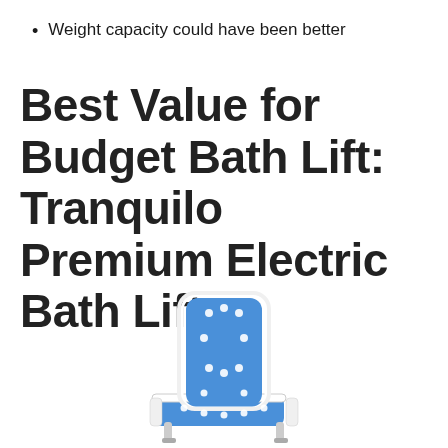Weight capacity could have been better
Best Value for Budget Bath Lift: Tranquilo Premium Electric Bath Lift
[Figure (photo): Photo of the Tranquilo Premium Electric Bath Lift, a white and blue motorized bath chair with a tall backrest and reclined seat, shown at an angle]